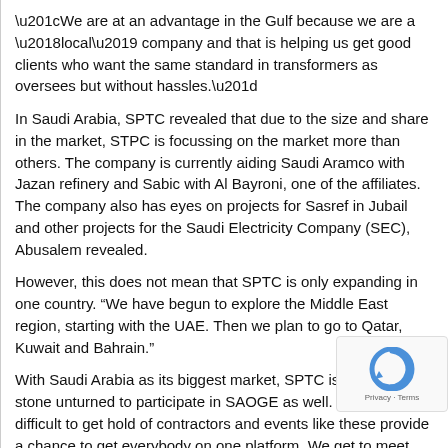“We are at an advantage in the Gulf because we are a ‘local’ company and that is helping us get good clients who want the same standard in transformers as oversees but without hassles.”
In Saudi Arabia, SPTC revealed that due to the size and share in the market, STPC is focussing on the market more than others. The company is currently aiding Saudi Aramco with Jazan refinery and Sabic with Al Bayroni, one of the affiliates. The company also has eyes on projects for Sasref in Jubail and other projects for the Saudi Electricity Company (SEC), Abusalem revealed.
However, this does not mean that SPTC is only expanding in one country. “We have begun to explore the Middle East region, starting with the UAE. Then we plan to go to Qatar, Kuwait and Bahrain.”
With Saudi Arabia as its biggest market, SPTC is leaving no stone unturned to participate in SAOGE as well. “It is very difficult to get hold of contractors and events like these provide a chance to get everybody on one platform. We get to meet the biggest and key players in the industry.”
With regards to building more capacity and expansion plans, Abusalem noted that SPTC is manufacturing 10 transformers per month and the company is planning to increase capacity b their market demand, which the executive is very optimisti
SPTC’s factory in Dammam is the largest transformers manufacturing unit in the region and the company has an office in Abu Dhabi as well as...